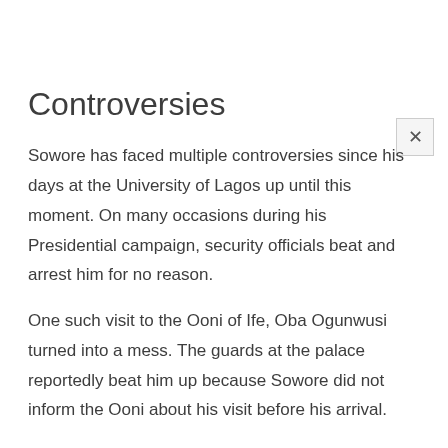Controversies
Sowore has faced multiple controversies since his days at the University of Lagos up until this moment. On many occasions during his Presidential campaign, security officials beat and arrest him for no reason.
One such visit to the Ooni of Ife, Oba Ogunwusi turned into a mess. The guards at the palace reportedly beat him up because Sowore did not inform the Ooni about his visit before his arrival.
There have also been accusations that Sowore uses...